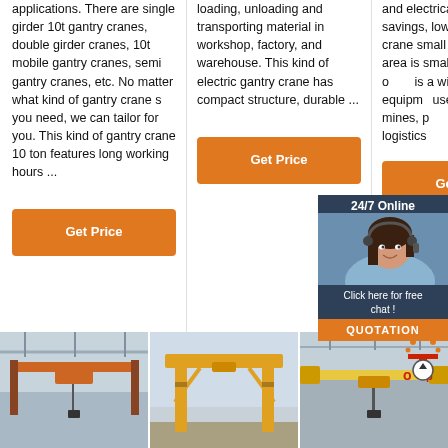applications. There are single girder 10t gantry cranes, double girder cranes, 10t mobile gantry cranes, semi gantry cranes, etc. No matter what kind of gantry crane s you need, we can tailor for you. This kind of gantry crane 10 ton features long working hours ...
loading, unloading and transporting material in workshop, factory, and warehouse. This kind of electric gantry crane has compact structure, durable ...
and electrical material savings, lower overall cost crane small beam crosswind area is small, b... and so o... is a wid... material equipm... used in ... mines, p... worksho... logistics... other de...
[Figure (other): 24/7 online chat widget with female customer service representative, 'Click here for free chat!' text, and QUOTATION orange button]
[Figure (photo): Overhead crane inside industrial workshop]
[Figure (photo): Yellow gantry crane outdoors]
[Figure (photo): Overhead crane inside building with top logo overlay]